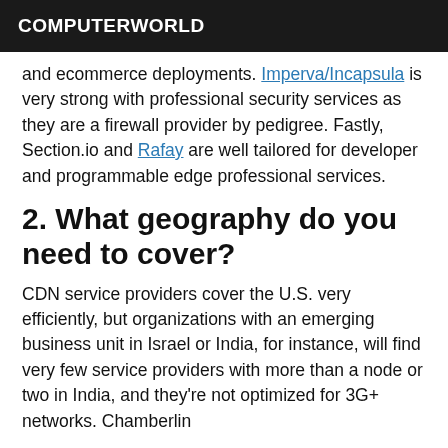COMPUTERWORLD
and ecommerce deployments. Imperva/Incapsula is very strong with professional security services as they are a firewall provider by pedigree. Fastly, Section.io and Rafay are well tailored for developer and programmable edge professional services.
2. What geography do you need to cover?
CDN service providers cover the U.S. very efficiently, but organizations with an emerging business unit in Israel or India, for instance, will find very few service providers with more than a node or two in India, and they're not optimized for 3G+ networks. Chamberlin